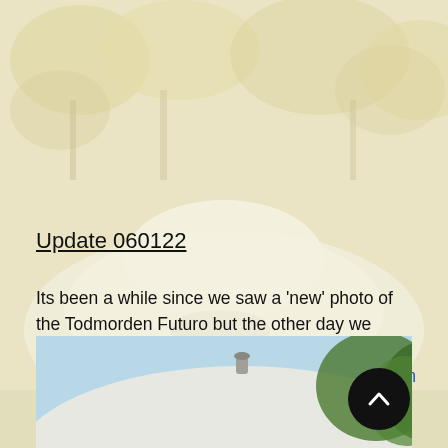[Figure (photo): Faded background photo of the Todmorden Futuro house (a flying-saucer shaped white structure) surrounded by autumnal trees]
Update 060122
Its been a while since we saw a 'new' photo of the Todmorden Futuro but the other day we came across this photo on Facebook posted to the group The History Of Rossendale by Graham Scholes.
[Figure (photo): Bottom strip photo showing the top of the white Futuro house dome with trees and blue sky in the background]